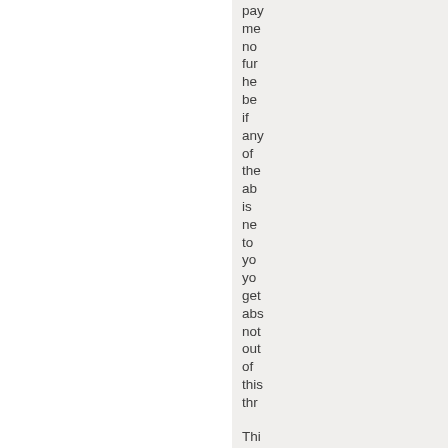payments, no further here become if any of the above is new to you you get absolutely not out of this through
Thi